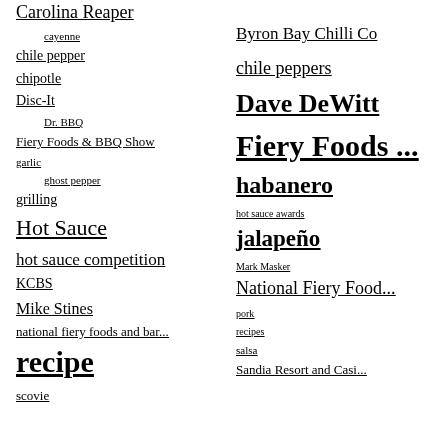Carolina Reaper
cayenne
chile pepper
chipotle
Disc-It
Dr. BBQ
Fiery Foods & BBQ Show
garlic
ghost pepper
grilling
Hot Sauce
hot sauce competition
KCBS
Mike Stines
national fiery foods and bar...
recipe
scovie
Byron Bay Chilli Co
chile peppers
Dave DeWitt
Fiery Foods ...
habanero
hot sauce awards
jalapeño
Mark Masker
National Fiery Food...
pork
recipes
salsa
Sandia Resort and Casi...